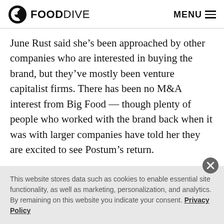FOOD DIVE  MENU
June Rust said she’s been approached by other companies who are interested in buying the brand, but they’ve mostly been venture capitalist firms. There has been no M&A interest from Big Food — though plenty of people who worked with the brand back when it was with larger companies have told her they are excited to see Postum’s return.
At some point, June Rust said she hopes to sell the
This website stores data such as cookies to enable essential site functionality, as well as marketing, personalization, and analytics. By remaining on this website you indicate your consent. Privacy Policy